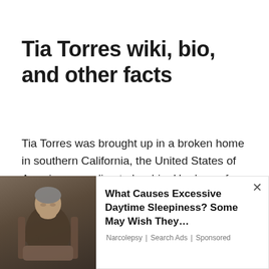Tia Torres wiki, bio, and other facts
Tia Torres was brought up in a broken home in southern California, the United States of America according to her bio. Her love of animals peaked at an early age; she began to take in dogs and stray cats. This Pit Bulls & Parolees host was raised by her grandmother with whom she shared a love of animals.
At the age of 17, Tia left home with her two Arabian horses, an
[Figure (photo): Advertisement overlay showing an elderly man sleeping in a chair alongside ad text reading 'What Causes Excessive Daytime Sleepiness? Some May Wish They…' with source 'Narcolepsy | Search Ads | Sponsored']